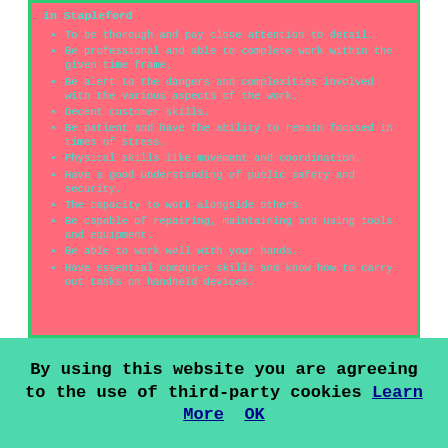in Stapleford
To be thorough and pay close attention to detail.
Be professional and able to complete work within the given time frame.
Be alert to the dangers and complexities involved with the various aspects of the work.
Decent customer skills.
Be patient and have the ability to remain focused in times of stress.
Physical skills like movement and coordination.
Have a good understanding of public safety and security.
The capacity to work alongside others.
Be capable of repairing, maintaining and using tools and equipment.
Be able to work well with your hands.
Have essential computer skills and know how to carry out tasks on handheld devices.
Tree Surveys Stapleford
Tree surveys could be needed for a variety of reasons, but
By using this website you are agreeing to the use of third-party cookies Learn More OK